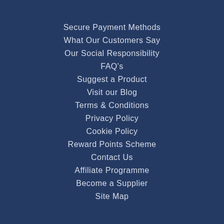Secure Payment Methods
What Our Customers Say
Our Social Responsibility
FAQ's
Suggest a Product
Visit our Blog
Terms & Conditions
Privacy Policy
Cookie Policy
Reward Points Scheme
Contact Us
Affiliate Programme
Become a Supplier
Site Map